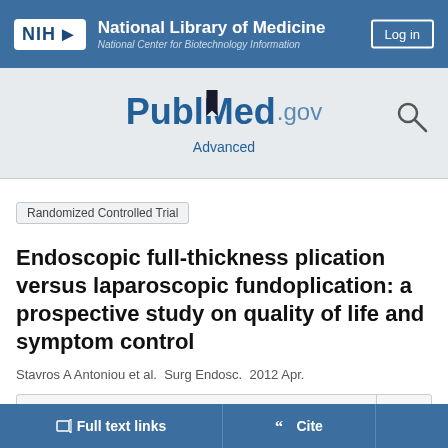NIH National Library of Medicine National Center for Biotechnology Information
[Figure (logo): PubMed.gov logo with search icon and Advanced link]
Randomized Controlled Trial
Endoscopic full-thickness plication versus laparoscopic fundoplication: a prospective study on quality of life and symptom control
Stavros A Antoniou et al. Surg Endosc. 2012 Apr.
Show details
Full text links   Cite